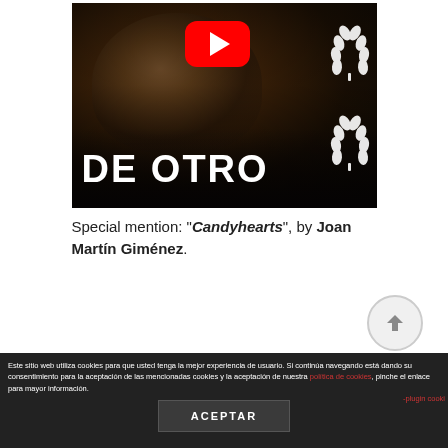[Figure (screenshot): YouTube video thumbnail showing a dark, cinematic film poster for a movie. Close-up of a person's face in dark tones. Bold white text at the bottom reads 'DE OTRO'. White laurel wreath graphics on the right side. Red YouTube play button in the upper center area. The film is partially titled 'DE OTRO'.]
Special mention: "Candyhearts", by Joan Martín Giménez.
Este sitio web utiliza cookies para que usted tenga la mejor experiencia de usuario. Si continúa navegando está dando su consentimiento para la aceptación de las mencionadas cookies y la aceptación de nuestra política de cookies, pinche el enlace para mayor información.
ACEPTAR